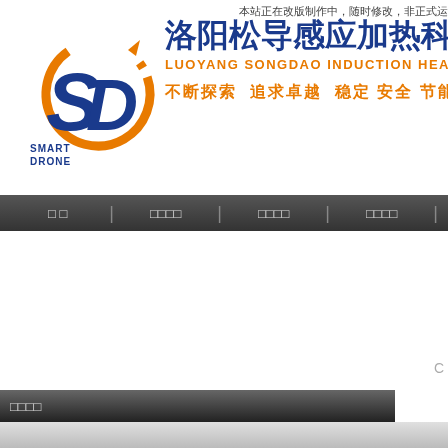本站正在改版制作中，随时修改，非正式运
[Figure (logo): SD Smart Drone company logo with blue S and D letters, orange circular swoosh arrow, text SMART DRONE below]
洛阳松导感应加热科技有
LUOYANG SONGDAO INDUCTION HEAT TECHN
不断探索  追求卓越  稳定 安全 节能 环保
□ □ | □□□□ | □□□□ | □□□□ |
C
□□□□